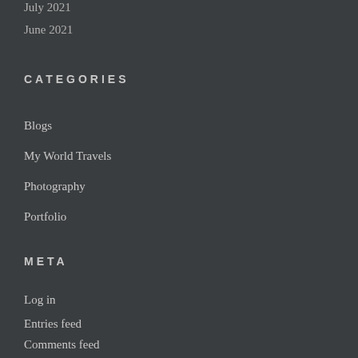July 2021
June 2021
CATEGORIES
Blogs
My World Travels
Photography
Portfolio
META
Log in
Entries feed
Comments feed
WordPress.org